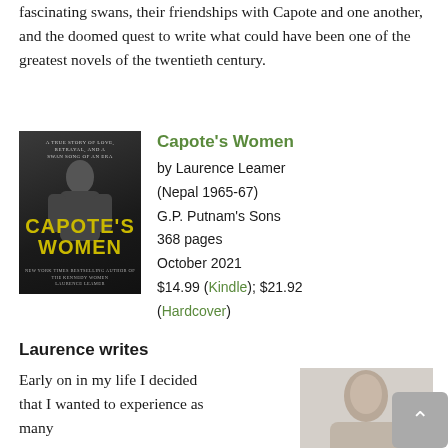fascinating swans, their friendships with Capote and one another, and the doomed quest to write what could have been one of the greatest novels of the twentieth century.
[Figure (photo): Book cover of Capote's Women by Laurence Leamer — black and white photo of a person seated, with gold/yellow title text on dark background]
Capote's Women
by Laurence Leamer
(Nepal 1965-67)
G.P. Putnam's Sons
368 pages
October 2021
$14.99 (Kindle); $21.92 (Hardcover)
Laurence writes
Early on in my life I decided that I wanted to experience as many
[Figure (photo): Headshot photo of Laurence Leamer, a man with short hair, partial view]